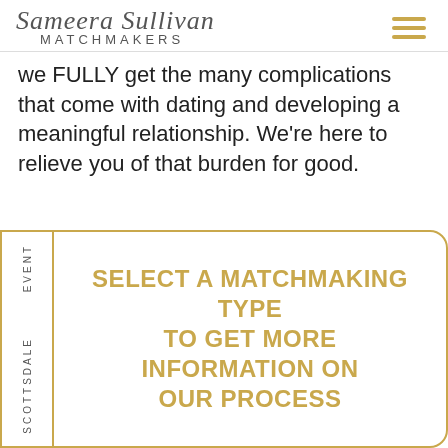[Figure (logo): Sameera Sullivan Matchmakers logo with script handwritten text and hamburger menu icon]
we FULLY get the many complications that come with dating and developing a meaningful relationship. We're here to relieve you of that burden for good.
SCOTTSDALE EVENT
SELECT A MATCHMAKING TYPE TO GET MORE INFORMATION ON OUR PROCESS